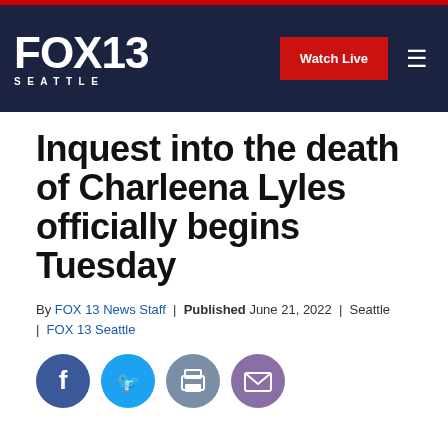FOX 13 SEATTLE | Watch Live
Inquest into the death of Charleena Lyles officially begins Tuesday
By FOX 13 News Staff | Published June 21, 2022 | Seattle | FOX 13 Seattle
[Figure (other): Social share icons: Facebook, Twitter, Print, Email]